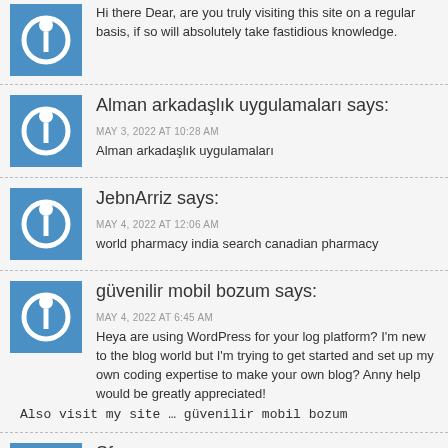Hi there Dear, are you truly visiting this site on a regular basis, if so will absolutely take fastidious knowledge.
Alman arkadaşlık uygulamaları says:
MAY 3, 2022 AT 10:28 AM
Alman arkadaşlık uygulamaları
JebnArriz says:
MAY 4, 2022 AT 12:06 AM
world pharmacy india search canadian pharmacy
güvenilir mobil bozum says:
MAY 4, 2022 AT 6:45 AM
Heya are using WordPress for your log platform? I'm new to the blog world but I'm trying to get started and set up my own coding expertise to make your own blog? Anny help would be greatly appreciated!
Also visit my site … güvenilir mobil bozum
Sfero says:
MAY 4, 2022 AT 11:07 AM
This blog was… how do you say it? Relevant!! Finally I have found a lot!